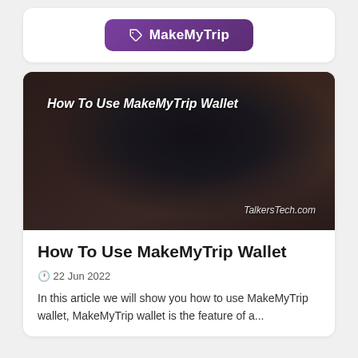[Figure (logo): MakeMyTrip purple rounded button with tag icon and white text]
[Figure (photo): Person typing on laptop at a wooden desk with plants in background. Overlay text: 'How To Use MakeMyTrip Wallet' and watermark 'TalkersTech.com']
How To Use MakeMyTrip Wallet
🕐 22 Jun 2022
In this article we will show you how to use MakeMyTrip wallet, MakeMyTrip wallet is the feature of a...